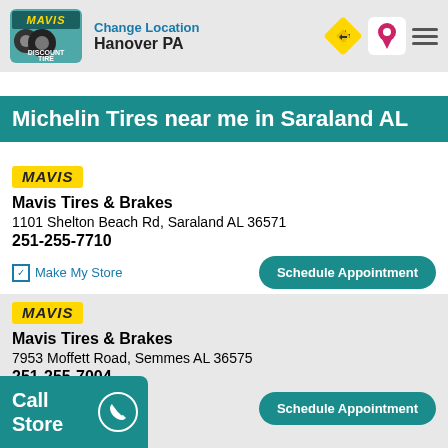Change Location
Hanover PA
Michelin Tires near me in Saraland AL
Mavis Tires & Brakes
1101 Shelton Beach Rd, Saraland AL 36571
251-255-7710
Make My Store
Mavis Tires & Brakes
7953 Moffett Road, Semmes AL 36575
251-255-7004
Make My Store
Call Store